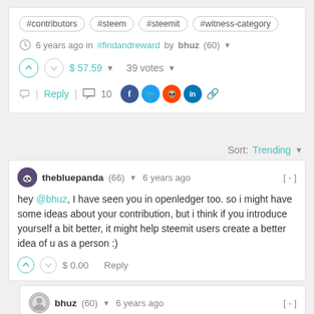#contributors #steem #steemit #witness-category
6 years ago in #findandreward by bhuz (60)
$ 57.59  39 votes
Reply  10
Sort: Trending
thebluepanda (66) 6 years ago [-]
hey @bhuz, I have seen you in openledger too. so i might have some ideas about your contribution, but i think if you introduce yourself a bit better, it might help steemit users create a better idea of u as a person :)
$ 0.00  Reply
bhuz (60)  6 years ago [-]
Hi thebluepanda,